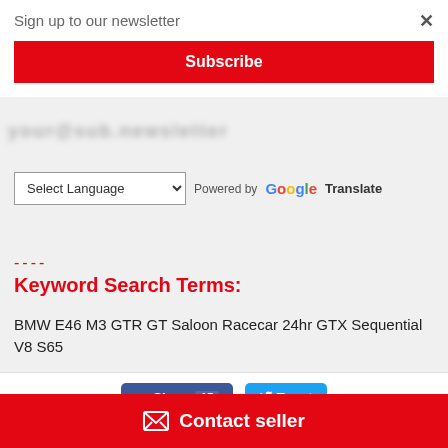Sign up to our newsletter
Subscribe
----
Select Language  Powered by Google Translate
----
Keyword Search Terms:
BMW E46 M3 GTR GT Saloon Racecar 24hr GTX Sequential V8 S65
Share 15  Tweet
Contact seller